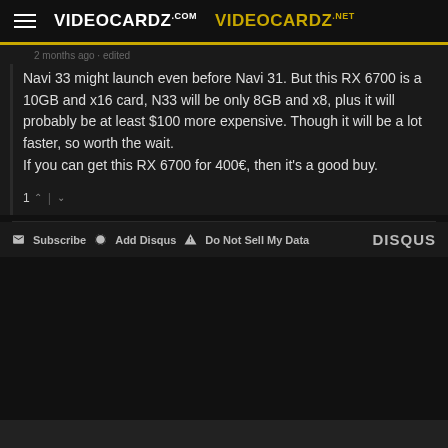VIDEOCARDZ.COM | VIDEOCARDZ.NET
2 months ago · edited
Navi 33 might launch even before Navi 31. But this RX 6700 is a 10GB and x16 card, N33 will be only 8GB and x8, plus it will probably be at least $100 more expensive. Though it will be a lot faster, so worth the wait.
If you can get this RX 6700 for 400€, then it's a good buy.
1 ↑ | ↓
Subscribe | Add Disqus | Do Not Sell My Data | DISQUS